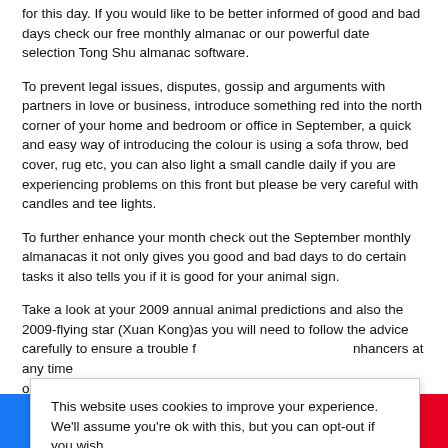for this day. If you would like to be better informed of good and bad days check our free monthly almanac or our powerful date selection Tong Shu almanac software.
To prevent legal issues, disputes, gossip and arguments with partners in love or business, introduce something red into the north corner of your home and bedroom or office in September, a quick and easy way of introducing the colour is using a sofa throw, bed cover, rug etc, you can also light a small candle daily if you are experiencing problems on this front but please be very careful with candles and tee lights.
To further enhance your month check out the September monthly almanacas it not only gives you good and bad days to do certain tasks it also tells you if it is good for your animal sign.
Take a look at your 2009 annual animal predictions and also the 2009-flying star (Xuan Kong)as you will need to follow the advice carefully to ensure a trouble f[...] nhancers at any time o[...] h[...] annual and fixed f[...] vanced flying star s[...] nd students throughout ...
This website uses cookies to improve your experience. We'll assume you're ok with this, but you can opt-out if you wish.
Cookie settings
ACCEPT